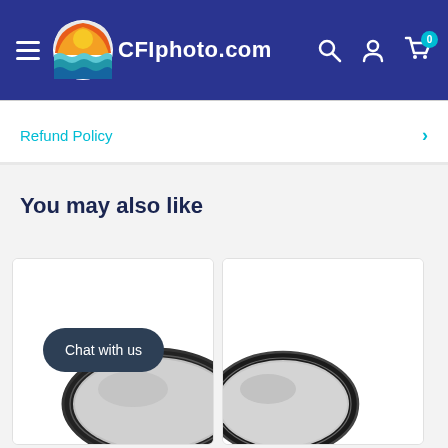CFIphoto.com
Refund Policy
You may also like
[Figure (photo): Two circular camera lens filters (grey/polarizing filters) shown partially, with a dark navy chat bubble overlay reading 'Chat with us']